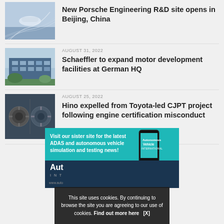[Figure (photo): Car on autonomous driving road]
New Porsche Engineering R&D site opens in Beijing, China
[Figure (photo): Modern building facade - Schaeffler facility]
AUGUST 31, 2022
Schaeffler to expand motor development facilities at German HQ
[Figure (photo): Engine components - Hino motors]
AUGUST 25, 2022
Hino expelled from Toyota-led CJPT project following engine certification misconduct
[Figure (illustration): Advertisement banner: Visit our sister site for the latest ADAS and autonomous vehicle simulation and testing news! Autonomous Vehicle International]
This site uses cookies. By continuing to browse the site you are agreeing to our use of cookies. Find out more here  [X]